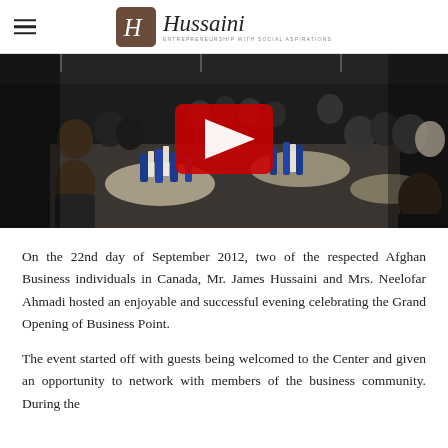Hussani — Entrepreneurship with social aspirations
[Figure (photo): A banquet hall filled with guests seated at round tables decorated with blue and white napkins, viewed from behind. A YouTube play button overlay is visible in the upper center.]
On the 22nd day of September 2012, two of the respected Afghan Business individuals in Canada, Mr. James Hussaini and Mrs. Neelofar Ahmadi hosted an enjoyable and successful evening celebrating the Grand Opening of Business Point.
The event started off with guests being welcomed to the Center and given an opportunity to network with members of the business community. During the